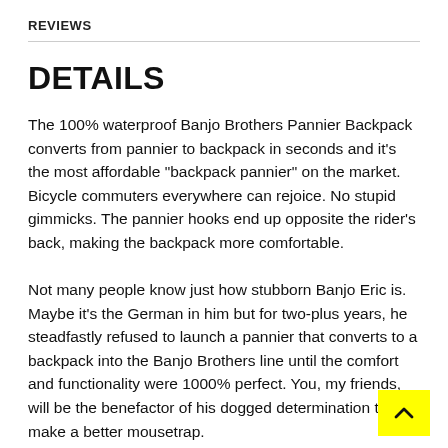REVIEWS
DETAILS
The 100% waterproof Banjo Brothers Pannier Backpack converts from pannier to backpack in seconds and it's the most affordable "backpack pannier" on the market. Bicycle commuters everywhere can rejoice. No stupid gimmicks. The pannier hooks end up opposite the rider's back, making the backpack more comfortable.
Not many people know just how stubborn Banjo Eric is. Maybe it's the German in him but for two-plus years, he steadfastly refused to launch a pannier that converts to a backpack into the Banjo Brothers line until the comfort and functionality were 1000% perfect. You, my friends, will be the benefactor of his dogged determination to make a better mousetrap.